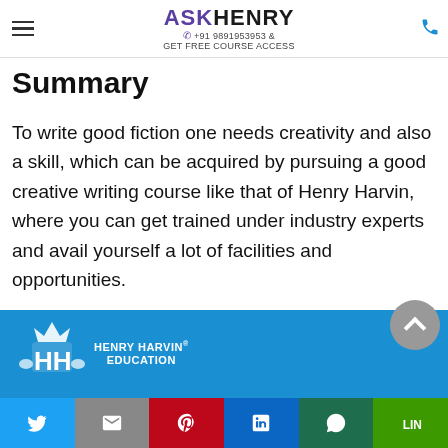ASKHENRY +91 9891953953 & GET FREE COURSE ACCESS
Summary
To write good fiction one needs creativity and also a skill, which can be acquired by pursuing a good creative writing course like that of Henry Harvin, where you can get trained under industry experts and avail yourself a lot of facilities and opportunities.
[Figure (logo): Henry Harvin Education banner with logo on blue background]
Social sharing bar: Twitter, Gmail, Pinterest, LinkedIn, WhatsApp, Line